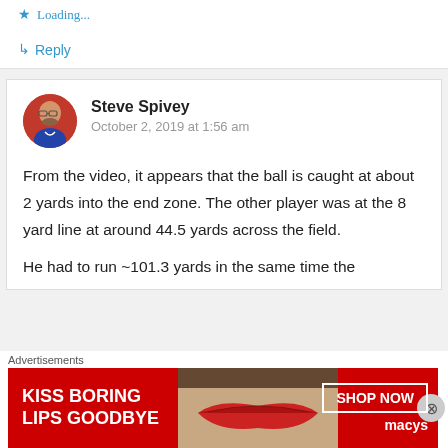Loading...
↳ Reply
Steve Spivey
October 2, 2019 at 1:56 am
From the video, it appears that the ball is caught at about 2 yards into the end zone. The other player was at the 8 yard line at around 44.5 yards across the field.
He had to run ~101.3 yards in the same time the
Advertisements
[Figure (photo): Macy's advertisement banner: 'KISS BORING LIPS GOODBYE' with a photo of lips and a SHOP NOW button with Macy's star logo]